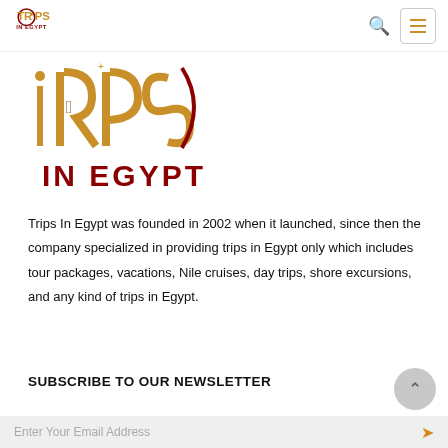Trips In Egypt (logo + navigation bar)
[Figure (logo): Trips In Egypt large logo with golden hieroglyphic stylized letters iRiPS and dark red text IN EGYPT below]
Trips In Egypt was founded in 2002 when it launched, since then the company specialized in providing trips in Egypt only which includes tour packages, vacations, Nile cruises, day trips, shore excursions, and any kind of trips in Egypt.
SUBSCRIBE TO OUR NEWSLETTER
Enter Your Email Address